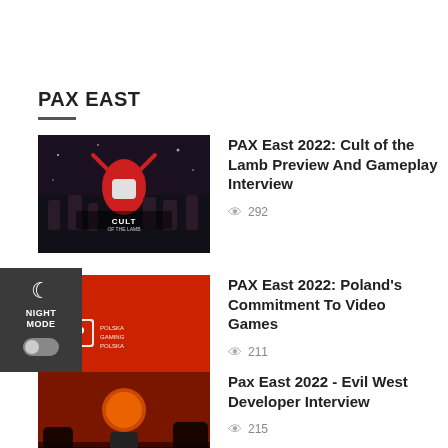PAX EAST
[Figure (photo): Cult of the Lamb game artwork showing dark fantasy characters]
PAX East 2022: Cult of the Lamb Preview And Gameplay Interview
292
[Figure (photo): Red background with Poland gaming logo]
PAX East 2022: Poland's Commitment To Video Games
211
[Figure (photo): Evil West game artwork with dark red sky and monsters]
Pax East 2022 - Evil West Developer Interview
215